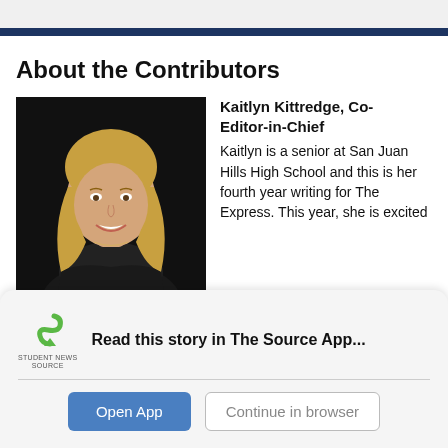About the Contributors
[Figure (photo): Headshot photo of Kaitlyn Kittredge, a young woman with long blonde hair, smiling, against a dark background.]
Kaitlyn Kittredge, Co-Editor-in-Chief
Kaitlyn is a senior at San Juan Hills High School and this is her fourth year writing for The Express. This year, she is excited to see how she can grow...
[Figure (logo): Student News Source logo — green S-shaped arrow with text 'STUDENT NEWS SOURCE' below]
Read this story in The Source App...
Open App
Continue in browser